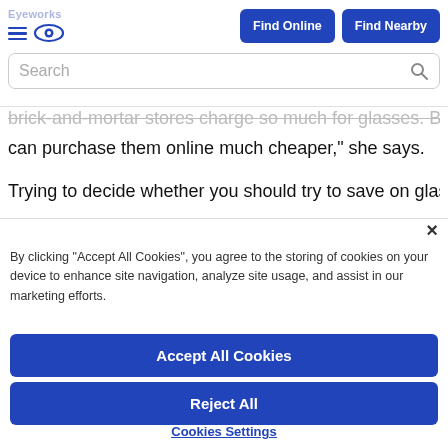Eyeworks logo with hamburger menu and eye icon. Find Online and Find Nearby buttons. Search bar.
She snaps a photo of the style number on the frame and
can purchase them online much cheaper,” she says.
Trying to decide whether you should try to save on glasses or
×
By clicking “Accept All Cookies”, you agree to the storing of cookies on your device to enhance site navigation, analyze site usage, and assist in our marketing efforts.
Accept All Cookies
Reject All
Cookies Settings